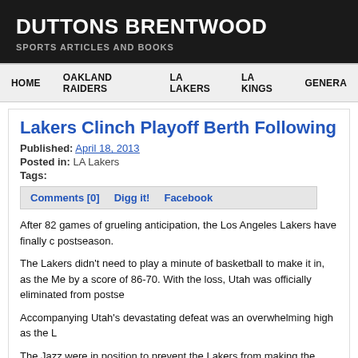DUTTONS BRENTWOOD
SPORTS ARTICLES AND BOOKS
HOME   OAKLAND RAIDERS   LA LAKERS   LA KINGS   GENERA
Lakers Clinch Playoff Berth Following Ja
Published: April 18, 2013
Posted in: LA Lakers
Tags:
Comments [0]   Digg it!   Facebook
After 82 games of grueling anticipation, the Los Angeles Lakers have finally clinched a spot in the postseason.
The Lakers didn't need to play a minute of basketball to make it in, as the Memphis Grizzlies beat Utah by a score of 86-70. With the loss, Utah was officially eliminated from postseason contention.
Accompanying Utah's devastating defeat was an overwhelming high as the L
The Jazz were in position to prevent the Lakers from making the postseason Unfortunately, the Jazz were unable to capitalize on that opportunity as they
Despite trailing just 40-38 at halftime, Utah's momentum was cut short when third quarter.